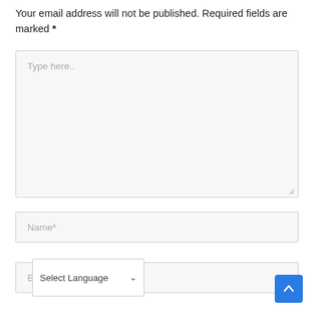Your email address will not be published. Required fields are marked *
[Figure (screenshot): Large textarea input box with placeholder text 'Type here..' and resize handle at bottom right]
[Figure (screenshot): Text input field with placeholder 'Name*']
[Figure (screenshot): Text input field with placeholder 'E' partially visible, overlaid with a 'Select Language' dropdown selector and a blue scroll-to-top button]